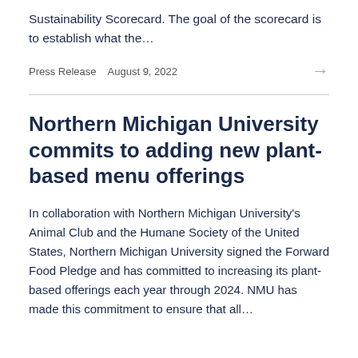Sustainability Scorecard. The goal of the scorecard is to establish what the…
Press Release   August 9, 2022
Northern Michigan University commits to adding new plant-based menu offerings
In collaboration with Northern Michigan University's Animal Club and the Humane Society of the United States, Northern Michigan University signed the Forward Food Pledge and has committed to increasing its plant-based offerings each year through 2024. NMU has made this commitment to ensure that all…